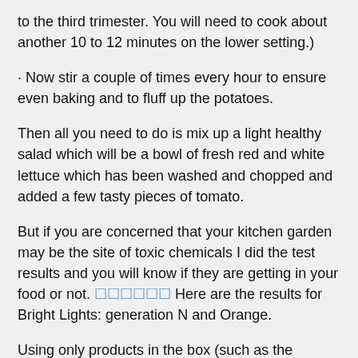to the third trimester. You will need to cook about another 10 to 12 minutes on the lower setting.)
· Now stir a couple of times every hour to ensure even baking and to fluff up the potatoes.
Then all you need to do is mix up a light healthy salad which will be a bowl of fresh red and white lettuce which has been washed and chopped and added a few tasty pieces of tomato.
But if you are concerned that your kitchen garden may be the site of toxic chemicals I did the test results and you will know if they are getting in your food or not. [link] Here are the results for Bright Lights: generation N and Orange.
Using only products in the box (such as the fertilizer and detergent) and average household water used, the air to solid particles ratio for the products was not at any significant and found reasonably stable. Generation N was under the critical